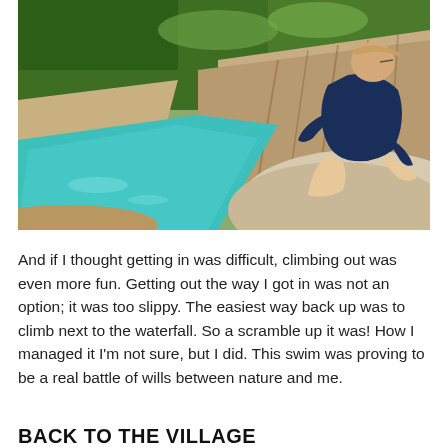[Figure (photo): A person wearing a dark navy blue top sits on a large pale rock, viewed from behind, overlooking a natural turquoise/teal pool of water surrounded by rocky limestone cliffs and dense green trees. The setting appears to be a waterfall or natural swimming hole in a tropical or subtropical environment.]
And if I thought getting in was difficult, climbing out was even more fun. Getting out the way I got in was not an option; it was too slippy. The easiest way back up was to climb next to the waterfall. So a scramble up it was! How I managed it I'm not sure, but I did. This swim was proving to be a real battle of wills between nature and me.
BACK TO THE VILLAGE